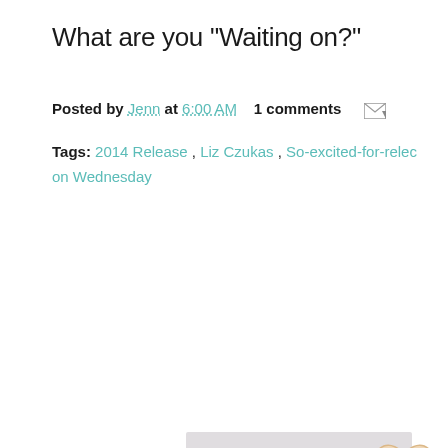What are you "Waiting on?"
Posted by Jenn at 6:00 AM   1 comments
Tags: 2014 Release , Liz Czukas , So-excited-for-relec on Wednesday
[Figure (photo): Photobucket placeholder image with heart decorations]
NOV
10
Quotes (#82)
[Figure (photo): Photo of a man (comedian) speaking into a microphone on a dark stage]